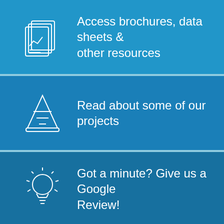Access brochures, data sheets & other resources
Read about some of our projects
Got a minute? Give us a Google Review!